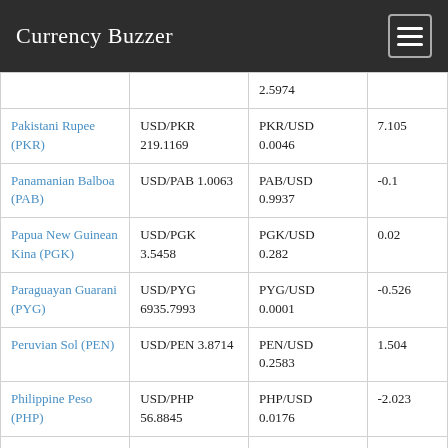Currency Buzzer
| Currency | USD Rate | Inverse Rate | Change |
| --- | --- | --- | --- |
|  |  | 2.5974 |  |
| Pakistani Rupee (PKR) | USD/PKR 219.1169 | PKR/USD 0.0046 | 7.105 |
| Panamanian Balboa (PAB) | USD/PAB 1.0063 | PAB/USD 0.9937 | -0.1 |
| Papua New Guinean Kina (PGK) | USD/PGK 3.5458 | PGK/USD 0.282 | 0.02 |
| Paraguayan Guarani (PYG) | USD/PYG 6935.7993 | PYG/USD 0.0001 | -0.526 |
| Peruvian Sol (PEN) | USD/PEN 3.8714 | PEN/USD 0.2583 | 1.504 |
| Philippine Peso (PHP) | USD/PHP 56.8845 | PHP/USD 0.0176 | -2.023 |
| Polish Zloty (PLN) | USD/PLN 4.7367 | PLN/USD 0.2111 | -2.451 |